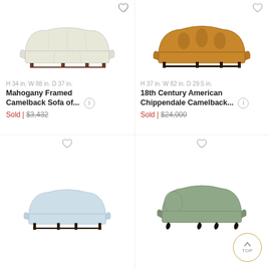[Figure (photo): White/cream upholstered camelback sofa with mahogany frame on white background]
H 34 in. W 88 in. D 37 in.
Mahogany Framed Camelback Sofa of...
Sold | $3,432
[Figure (photo): Gold/orange damask upholstered camelback sofa on white background]
H 37 in. W 82 in. D 29.5 in.
18th Century American Chippendale Camelback...
Sold | $24,000
[Figure (photo): Light blue/white upholstered camelback sofa with dark legs on white background]
[Figure (photo): Sage green upholstered camelback sofa with ornate dark carved legs on white background]